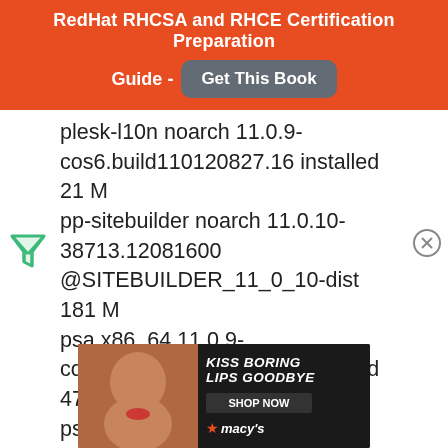RedHat RHCSA and RHCE Certification Preparation Guide - Get This Book
plesk-l10n noarch 11.0.9-cos6.build110120827.16 installed 21 M
pp-sitebuilder noarch 11.0.10-38713.12081600 @SITEBUILDER_11_0_10-dist 181 M
psa x86_64 11.0.9-cos6.build110120608.16 installed 473 k
psa-atmail noarch 1:1.05-
[Figure (other): Ad banner: KISS BORING LIPS GOODBYE SHOP NOW macy's]
[Figure (other): Left navigation/filter icon (green triangle/funnel icon)]
[Figure (other): Close/dismiss circle icon on right side]